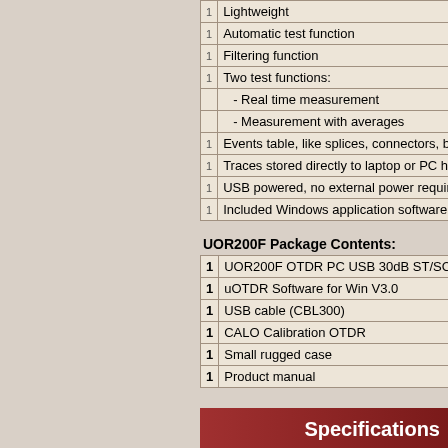1 Lightweight
1 Automatic test function
1 Filtering function
1 Two test functions:
- Real time measurement
- Measurement with averages
1 Events table, like splices, connectors, brea...
1 Traces stored directly to laptop or PC hard...
1 USB powered, no external power required
1 Included Windows application software (Be...
UOR200F Package Contents:
| Qty | Item |
| --- | --- |
| 1 | UOR200F OTDR PC USB 30dB ST/SC/FC ... |
| 1 | uOTDR Software for Win V3.0 |
| 1 | USB cable (CBL300) |
| 1 | CALO Calibration OTDR |
| 1 | Small rugged case |
| 1 | Product manual |
Specifications
| Applications | Singlemode |
| --- | --- |